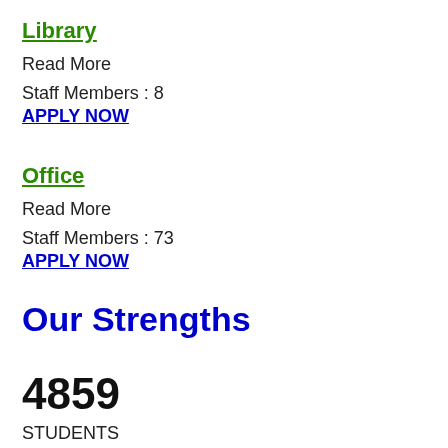Library
Read More
Staff Members : 8
APPLY NOW
Office
Read More
Staff Members : 73
APPLY NOW
Our Strengths
4859
STUDENTS